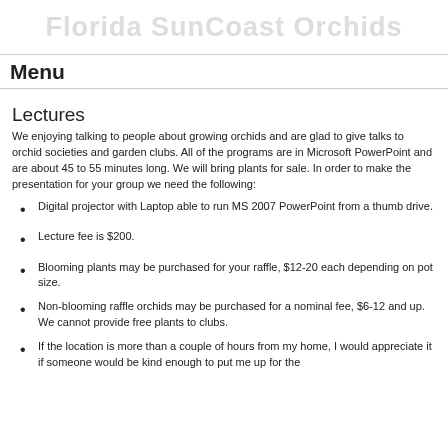Florida SunCoast Orchids
Menu
Lectures
We enjoying talking to people about growing orchids and are glad to give talks to orchid societies and garden clubs. All of the programs are in Microsoft PowerPoint and are about 45 to 55 minutes long. We will bring plants for sale. In order to make the presentation for your group we need the following:
Digital projector with Laptop able to run MS 2007 PowerPoint from a thumb drive.
Lecture fee is $200.
Blooming plants may be purchased for your raffle, $12-20 each depending on pot size.
Non-blooming raffle orchids may be purchased for a nominal fee, $6-12 and up. We cannot provide free plants to clubs.
If the location is more than a couple of hours from my home, I would appreciate it if someone would be kind enough to put me up for the